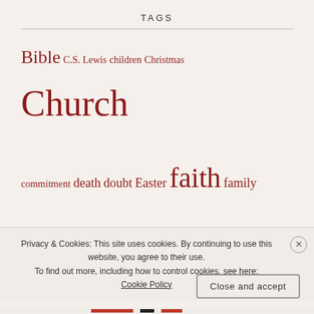TAGS
[Figure (infographic): Tag cloud with religious/spiritual keywords in varying sizes in dark red color: Bible, C.S. Lewis, children, Christmas, Church, commitment, death, doubt, Easter, faith, family, friendship, God, Grace, hope, Jesus, life, listening, love, marriage, parenting, politics, prayer, relationships, resurrection, sin, suffering, truth, unity, worship]
Privacy & Cookies: This site uses cookies. By continuing to use this website, you agree to their use. To find out more, including how to control cookies, see here: Cookie Policy
Close and accept